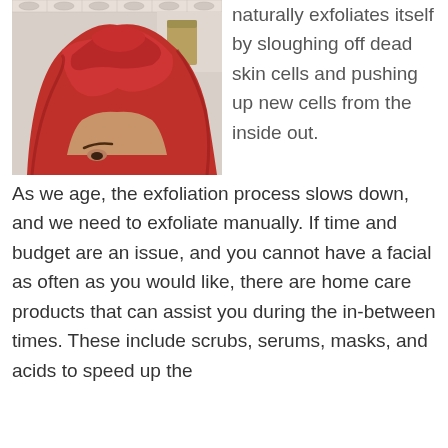[Figure (photo): Person with a red towel wrapped around their head in a turban style, photographed from forehead up, in a bathroom setting with tiled walls and a shelf in the background.]
naturally exfoliates itself by sloughing off dead skin cells and pushing up new cells from the inside out. As we age, the exfoliation process slows down, and we need to exfoliate manually. If time and budget are an issue, and you cannot have a facial as often as you would like, there are home care products that can assist you during the in-between times. These include scrubs, serums, masks, and acids to speed up the